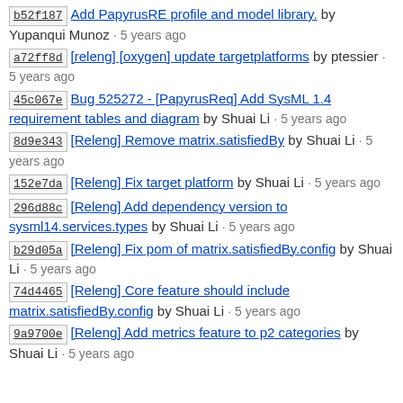b52f187 Add PapyrusRE profile and model library. by Yupanqui Munoz · 5 years ago
a72ff8d [releng] [oxygen] update targetplatforms by ptessier · 5 years ago
45c067e Bug 525272 - [PapyrusReq] Add SysML 1.4 requirement tables and diagram by Shuai Li · 5 years ago
8d9e343 [Releng] Remove matrix.satisfiedBy by Shuai Li · 5 years ago
152e7da [Releng] Fix target platform by Shuai Li · 5 years ago
296d88c [Releng] Add dependency version to sysml14.services.types by Shuai Li · 5 years ago
b29d05a [Releng] Fix pom of matrix.satisfiedBy.config by Shuai Li · 5 years ago
74d4465 [Releng] Core feature should include matrix.satisfiedBy.config by Shuai Li · 5 years ago
9a9700e [Releng] Add metrics feature to p2 categories by Shuai Li · 5 years ago